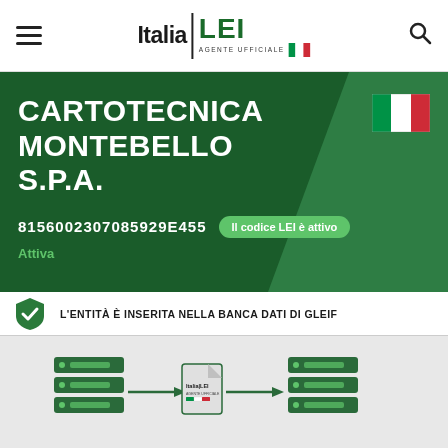Italia LEI AGENTE UFFICIALE
CARTOTECNICA MONTEBELLO S.P.A.
8156002307085929E455 — Il codice LEI è attivo
Attiva
L'ENTITÀ È INSERITA NELLA BANCA DATI DI GLEIF
[Figure (infographic): Diagram showing data flow from server icons through ItaliaLEI document to another server, representing GLEIF database registration process.]